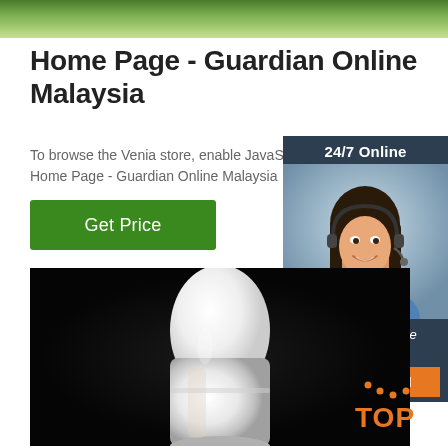[Figure (photo): Green foliage/nature image at top of page, partially cropped]
Home Page - Guardian Online Malaysia
To browse the Venia store, enable JavaScript in y... Home Page - Guardian Online Malaysia
[Figure (other): Green Get Price button]
[Figure (other): 24/7 Online chat widget with photo of woman with headset, 'Click here for free chat!' and QUOTATION button]
[Figure (photo): Close-up photo of a white candle-shaped bottle/container on black background]
[Figure (logo): TOP logo in orange at bottom right]